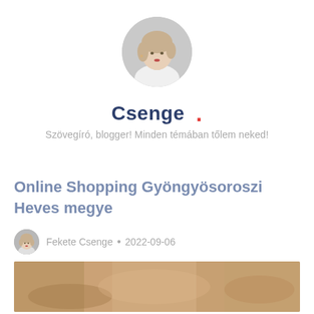[Figure (photo): Circular profile photo of a blonde woman in white clothing, gray background]
Csenge .
Szövegíró, blogger! Minden témában tőlem neked!
Online Shopping Gyöngyösoroszi Heves megye
Fekete Csenge • 2022-09-06
[Figure (photo): Article thumbnail image showing hands and warm-toned shopping scene]